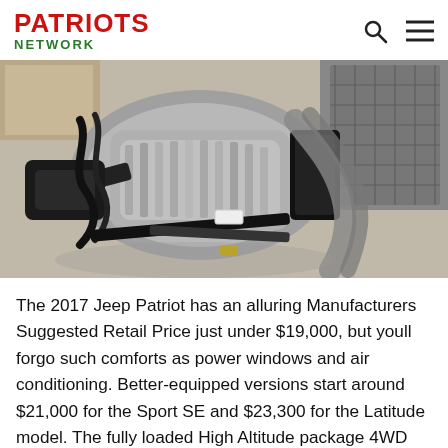PATRIOTS NETWORK
[Figure (photo): Photo of a vehicle transmission/gearbox component, metallic grey, sitting on a floor with straps and other auto parts visible around it.]
The 2017 Jeep Patriot has an alluring Manufacturers Suggested Retail Price just under $19,000, but youll forgo such comforts as power windows and air conditioning. Better-equipped versions start around $21,000 for the Sport SE and $23,300 for the Latitude model. The fully loaded High Altitude package 4WD can bump the price past $30,000. At the same time, most Patriots models still have a...